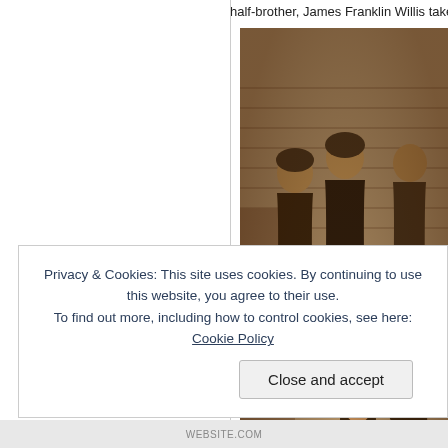half-brother, James Franklin Willis taken ap
[Figure (photo): Sepia-toned vintage family photograph showing a group of people including women, men, and children posed in front of a wooden clapboard building exterior.]
Privacy & Cookies: This site uses cookies. By continuing to use this website, you agree to their use.
To find out more, including how to control cookies, see here: Cookie Policy
Close and accept
WEBSITE.COM